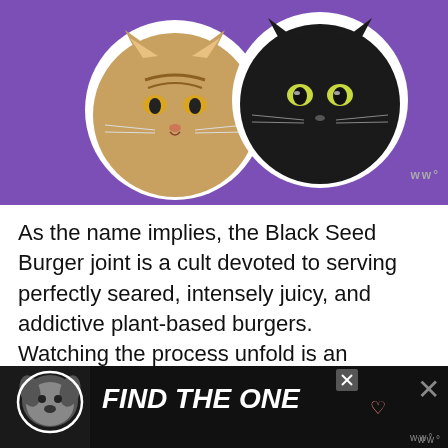[Figure (photo): Two cats on a purple background — a tabby cat on the left and a black cat on the right, both shown as circular sticker-style portraits with white borders.]
As the name implies, the Black Seed Burger joint is a cult devoted to serving perfectly seared, intensely juicy, and addictive plant-based burgers. Watching the process unfold is an exciting experience, for their team prepares each ingredient using a different portion of a very large grill top.
Are you craving a juicy patty loaded with
[Figure (screenshot): Advertisement banner with dark background showing a dog and the text FIND THE ONE with a heart symbol.]